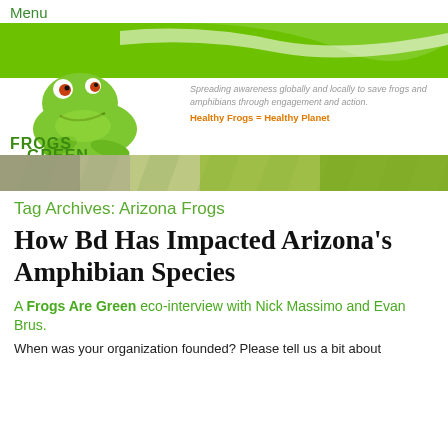Menu
[Figure (logo): Frogs Are Green logo with cartoon green frog and banner graphic. Text reads FROGS are GREEN with tagline: Spreading awareness globally and locally to save frogs and amphibians through engagement and action. Healthy Frogs = Healthy Planet.]
[Figure (illustration): Decorative stripe bar with green diagonal stripe pattern]
Tag Archives: Arizona Frogs
How Bd Has Impacted Arizona's Amphibian Species
A Frogs Are Green eco-interview with Nick Massimo and Evan Brus.
When was your organization founded? Please tell us a bit about